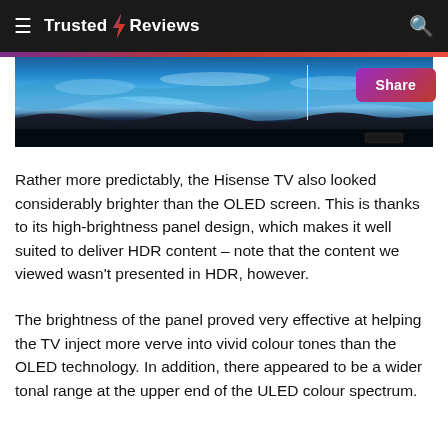Trusted Reviews
[Figure (photo): A television screen showing a vivid blue ocean/wave scene, viewed at a slight angle from the front, with a dark bottom bezel visible.]
Rather more predictably, the Hisense TV also looked considerably brighter than the OLED screen. This is thanks to its high-brightness panel design, which makes it well suited to deliver HDR content – note that the content we viewed wasn't presented in HDR, however.
The brightness of the panel proved very effective at helping the TV inject more verve into vivid colour tones than the OLED technology. In addition, there appeared to be a wider tonal range at the upper end of the ULED colour spectrum.